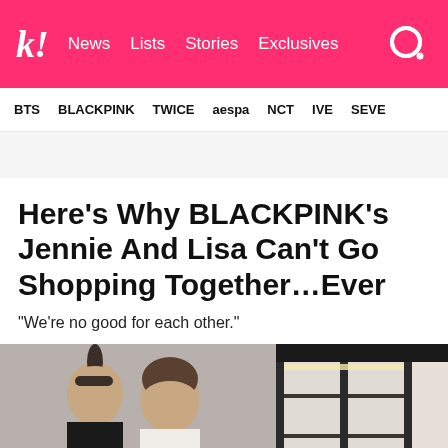k! News Lists Stories Exclusives
BTS BLACKPINK TWICE aespa NCT IVE SEVE
Here’s Why BLACKPINK’s Jennie And Lisa Can’t Go Shopping Together…Ever
“We’re no good for each other.”
[Figure (photo): Two photos side by side: left shows Lisa and Jennie of BLACKPINK in black outfits posing together; right shows an interior shelf/store setting.]